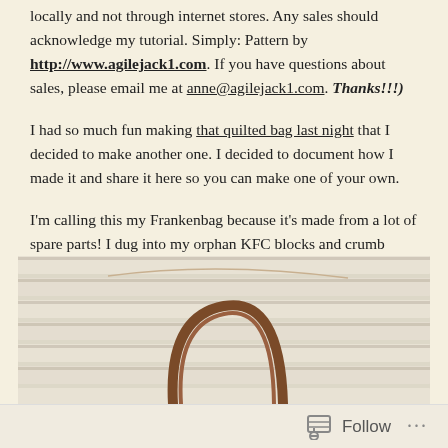locally and not through internet stores. Any sales should acknowledge my tutorial. Simply: Pattern by http://www.agilejack1.com. If you have questions about sales, please email me at anne@agilejack1.com. Thanks!!!)
I had so much fun making that quilted bag last night that I decided to make another one. I decided to document how I made it and share it here so you can make one of your own.
I'm calling this my Frankenbag because it's made from a lot of spare parts! I dug into my orphan KFC blocks and crumb blocks to incorporate them here.
[Figure (photo): Photo of a beige/cream quilted bag with brown leather handles resting against venetian blinds]
Follow ···